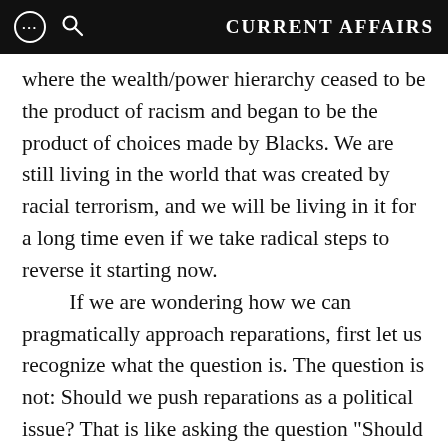CURRENT AFFAIRS
where the wealth/power hierarchy ceased to be the product of racism and began to be the product of choices made by Blacks. We are still living in the world that was created by racial terrorism, and we will be living in it for a long time even if we take radical steps to reverse it starting now.
If we are wondering how we can pragmatically approach reparations, first let us recognize what the question is. The question is not: Should we push reparations as a political issue? That is like asking the question “Should there be justice or should there not be?” Of